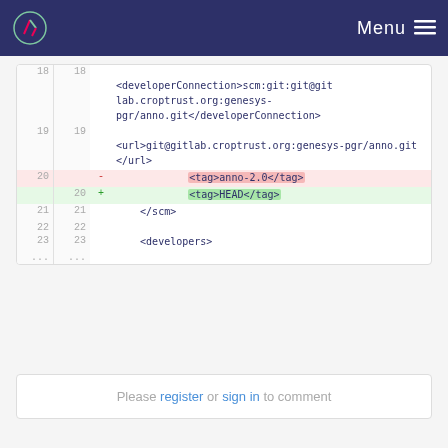Menu
[Figure (screenshot): Code diff view showing XML SCM configuration changes. Lines 18-23 and ellipsis shown. Line 20 removed: <tag>anno-2.0</tag>, Line 20 added: <tag>HEAD</tag>]
Please register or sign in to comment